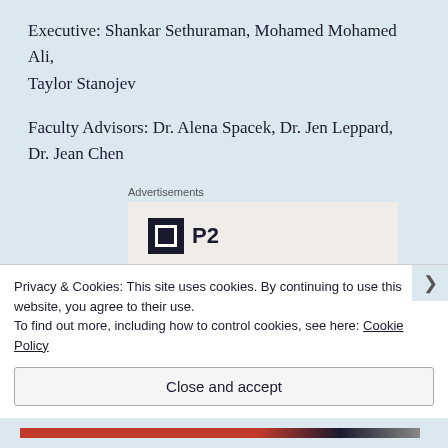Executive: Shankar Sethuraman, Mohamed Mohamed Ali, Taylor Stanojev
Faculty Advisors: Dr. Alena Spacek, Dr. Jen Leppard, Dr. Jean Chen
[Figure (other): Advertisement box with P2 logo showing a black square with white border icon, and bold text 'Getting your team on the same page is easy']
Privacy & Cookies: This site uses cookies. By continuing to use this website, you agree to their use.
To find out more, including how to control cookies, see here: Cookie Policy
Close and accept